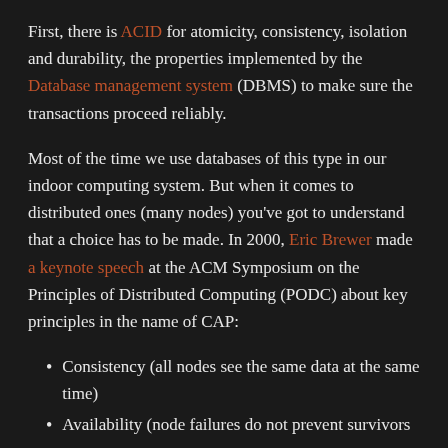First, there is ACID for atomicity, consistency, isolation and durability, the properties implemented by the Database management system (DBMS) to make sure the transactions proceed reliably.
Most of the time we use databases of this type in our indoor computing system. But when it comes to distributed ones (many nodes) you've got to understand that a choice has to be made. In 2000, Eric Brewer made a keynote speech at the ACM Symposium on the Principles of Distributed Computing (PODC) about key principles in the name of CAP:
Consistency (all nodes see the same data at the same time)
Availability (node failures do not prevent survivors